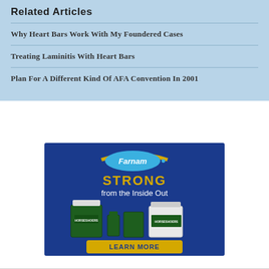Related Articles
Why Heart Bars Work With My Foundered Cases
Treating Laminitis With Heart Bars
Plan For A Different Kind Of AFA Convention In 2001
[Figure (photo): Farnam advertisement showing horse supplement products with text 'STRONG from the Inside Out' and a yellow 'LEARN MORE' button on a dark blue background.]